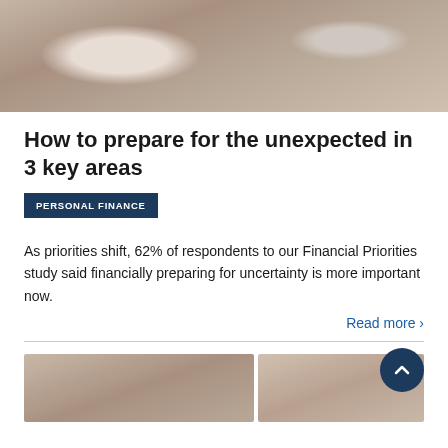[Figure (photo): Hands writing on paper with a calculator and book in the background, financial planning scene]
How to prepare for the unexpected in 3 key areas
PERSONAL FINANCE
As priorities shift, 62% of respondents to our Financial Priorities study said financially preparing for uncertainty is more important now.
Read more >
[Figure (photo): Two people looking at documents together and a woman with curly hair, personal finance consultation scenes]